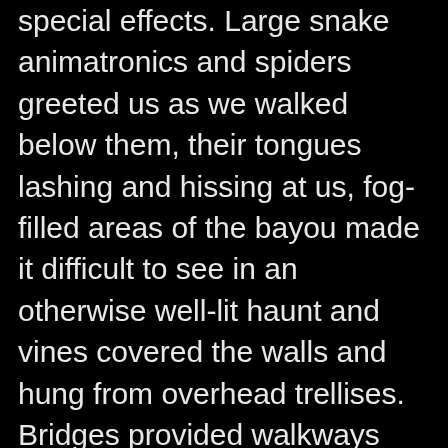The Voodoo Bayou also had the best of special effects. Large snake animatronics and spiders greeted us as we walked below them, their tongues lashing and hissing at us, fog-filled areas of the bayou made it difficult to see in an otherwise well-lit haunt and vines covered the walls and hung from overhead trellises. Bridges provided walkways over treacherous ravines, one bridge was lined with skulls impaled on stakes (not an enticing reason to cross), and bones and body parts were scattered around the grounds, as well as on shrines for offerings. Large wooden caskets in one area provided a lot of curiosity as to what may or may not be in